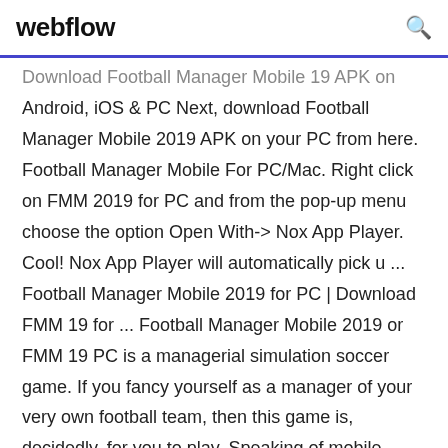webflow
Download Football Manager Mobile 19 APK on Android, iOS & PC Next, download Football Manager Mobile 2019 APK on your PC from here. Football Manager Mobile For PC/Mac. Right click on FMM 2019 for PC and from the pop-up menu choose the option Open With-> Nox App Player. Cool! Nox App Player will automatically pick u ... Football Manager Mobile 2019 for PC | Download FMM 19 for ... Football Manager Mobile 2019 or FMM 19 PC is a managerial simulation soccer game. If you fancy yourself as a manager of your very own football team, then this game is, decidedly, for you to play. Speaking of mobile soccer management games, Football Manager Mobile